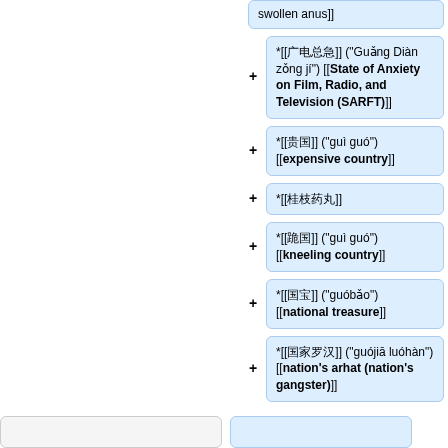swollen anus]]
*[[广电总急]] ("Guǎng Diàn zǒng jí") [[State of Anxiety on Film, Radio, and Television (SARFT)]]
*[[贵国]] ("guì guó") [[expensive country]]
*[[桂枝药丸]]
*[[跪国]] ("guì guó") [[kneeling country]]
*[[国宝]] ("guóbǎo") [[national treasure]]
*[[国家罗汉]] ("guójiā luóhàn") [[nation's arhat (nation's gangster)]]